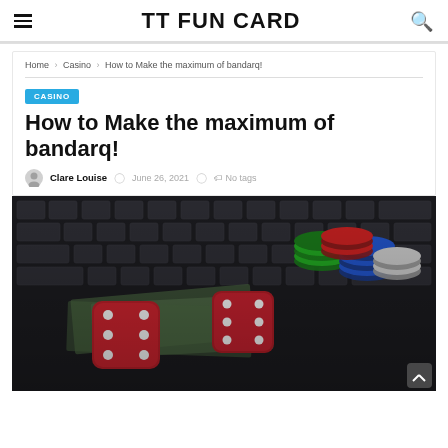TT FUN CARD
Home › Casino › How to Make the maximum of bandarq!
CASINO
How to Make the maximum of bandarq!
Clare Louise  June 26, 2021  No tags
[Figure (photo): Red dice and casino chips (red, green, blue, white) on a laptop keyboard with money, a casino/gambling themed image.]